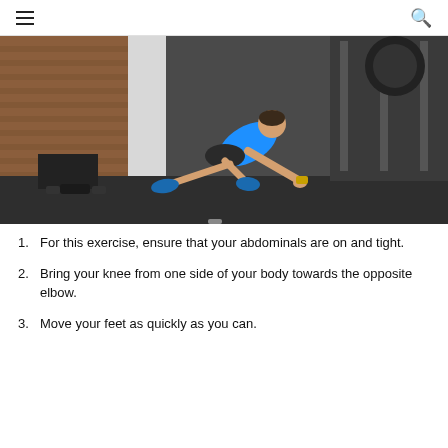navigation header with hamburger menu and search icon
[Figure (photo): A man in a blue shirt performing a mountain climber exercise on the floor of a gym. He is in a plank-like position with one knee brought forward toward the opposite elbow. The gym background shows brick walls, dumbbells, and weight rack equipment.]
For this exercise, ensure that your abdominals are on and tight.
Bring your knee from one side of your body towards the opposite elbow.
Move your feet as quickly as you can.